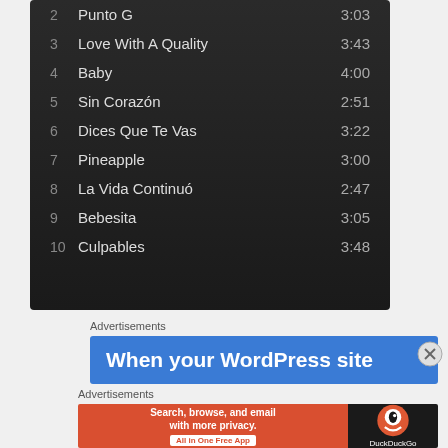2   Punto G   3:03
3   Love With A Quality   3:43
4   Baby   4:00
5   Sin Corazón   2:51
6   Dices Que Te Vas   3:22
7   Pineapple   3:00
8   La Vida Continuó   2:47
9   Bebesita   3:05
10  Culpables   3:48
Advertisements
[Figure (screenshot): Blue advertisement banner: 'When your WordPress site']
Advertisements
[Figure (screenshot): DuckDuckGo advertisement: 'Search, browse, and email with more privacy. All in One Free App']